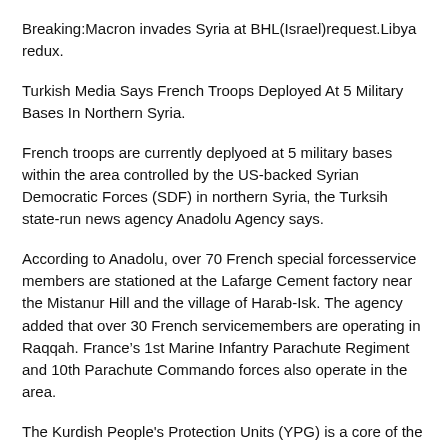Breaking:Macron invades Syria at BHL(Israel)request.Libya redux.
Turkish Media Says French Troops Deployed At 5 Military Bases In Northern Syria.
French troops are currently deplyoed at 5 military bases within the area controlled by the US-backed Syrian Democratic Forces (SDF) in northern Syria, the Turksih state-run news agency Anadolu Agency says.
According to Anadolu, over 70 French special forcesservice members are stationed at the Lafarge Cement factory near the Mistanur Hill and the village of Harab-Isk. The agency added that over 30 French servicemembers are operating in Raqqah. France’s 1st Marine Infantry Parachute Regiment and 10th Parachute Commando forces also operate in the area.
The Kurdish People's Protection Units (YPG) is a core of the SDF. Ankara describes the YPG as a terrorist group, a local branch of the Kurdistan Workers’ Party (PKK). Turkey has even recently conducted a large-scale military operation against the YPG in northwestern Syria and has captured the area of Afrin